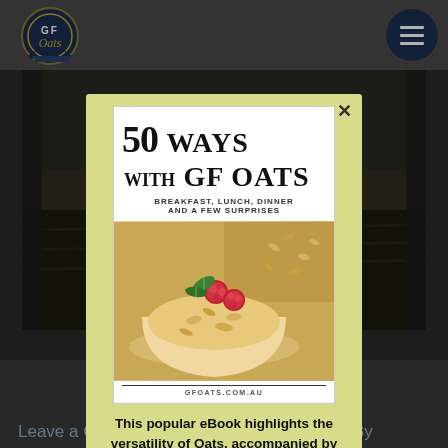[Figure (logo): GF Oats circular badge logo in blue and gold]
[Figure (illustration): Dark circular hamburger/menu button icon]
[Figure (photo): Dark agricultural field background image]
What is the history of Oats and Gluten Sensitivity?
Leave a Comment / About GF Oats, FAQ's / By
[Figure (screenshot): Modal popup with light yellow-green background showing book cover '50 Ways With GF Oats: Breakfast, Lunch, Dinner and a Few Surprises' with a bowl of oatmeal topped with raspberries and mint leaf, and a close X button]
This popular eBook highlights the versatility of Oats, accompanied by other ingredients that are perfect for those with food sensitivities and intolerance.